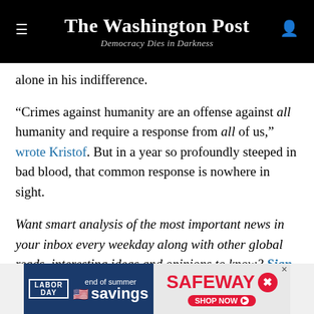The Washington Post
Democracy Dies in Darkness
alone in his indifference.
“Crimes against humanity are an offense against all humanity and require a response from all of us,” wrote Kristof. But in a year so profoundly steeped in bad blood, that common response is nowhere in sight.
Want smart analysis of the most important news in your inbox every weekday along with other global reads, interesting ideas and opinions to know? Sign up for the Today’s WorldView newsletter.
[Figure (other): Safeway Labor Day end of summer savings advertisement banner]